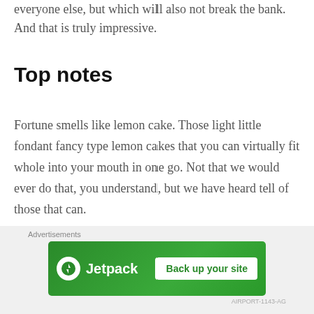everyone else, but which will also not break the bank. And that is truly impressive.
Top notes
Fortune smells like lemon cake. Those light little fondant fancy type lemon cakes that you can virtually fit whole into your mouth in one go. Not that we would ever do that, you understand, but we have heard tell of those that can.
Anyway, lemon cake comes through right from the first moment of application. This is a dreamy, sweet citrus
Advertisements
[Figure (other): Jetpack advertisement banner with 'Back up your site' button on green background]